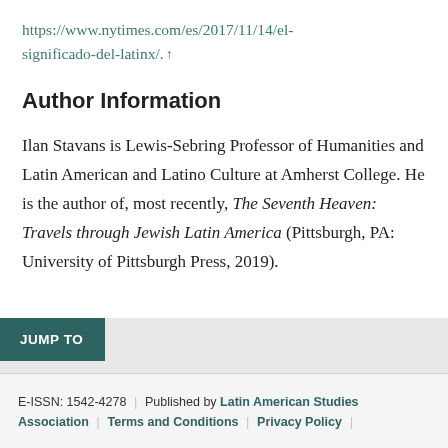https://www.nytimes.com/es/2017/11/14/el-significado-del-latinx/. ↑
Author Information
Ilan Stavans is Lewis-Sebring Professor of Humanities and Latin American and Latino Culture at Amherst College. He is the author of, most recently, The Seventh Heaven: Travels through Jewish Latin America (Pittsburgh, PA: University of Pittsburgh Press, 2019).
JUMP TO
E-ISSN: 1542-4278 | Published by Latin American Studies Association | Terms and Conditions | Privacy Policy